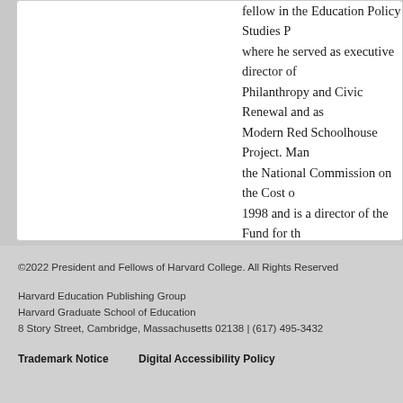fellow in the Education Policy Studies P... where he served as executive director of Philanthropy and Civic Renewal and as Modern Red Schoolhouse Project. Man... the National Commission on the Cost of 1998 and is a director of the Fund for th... Education. He is coauthor (with Chester of Charter Schools in Action: Renewing... frequent writer and commentator on edu...
©2022 President and Fellows of Harvard College. All Rights Reserved

Harvard Education Publishing Group
Harvard Graduate School of Education
8 Story Street, Cambridge, Massachusetts 02138 | (617) 495-3432

Trademark Notice    Digital Accessibility Policy